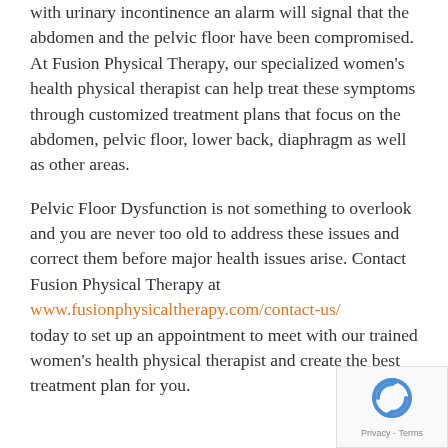with urinary incontinence an alarm will signal that the abdomen and the pelvic floor have been compromised. At Fusion Physical Therapy, our specialized women's health physical therapist can help treat these symptoms through customized treatment plans that focus on the abdomen, pelvic floor, lower back, diaphragm as well as other areas.
Pelvic Floor Dysfunction is not something to overlook and you are never too old to address these issues and correct them before major health issues arise. Contact Fusion Physical Therapy at www.fusionphysicaltherapy.com/contact-us/ today to set up an appointment to meet with our trained women's health physical therapist and create the best treatment plan for you.
[Figure (other): reCAPTCHA logo and Privacy - Terms badge in bottom right corner]